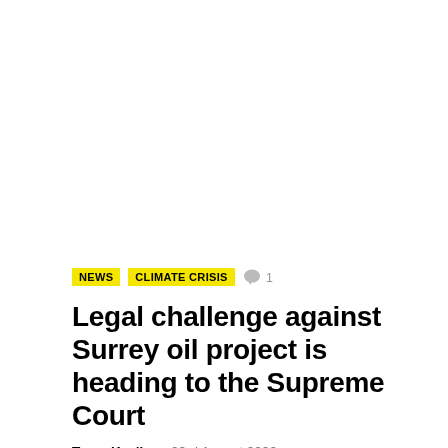NEWS  CLIMATE CRISIS  💬 1
Legal challenge against Surrey oil project is heading to the Supreme Court
Tracy Keeling , 23rd August 2022